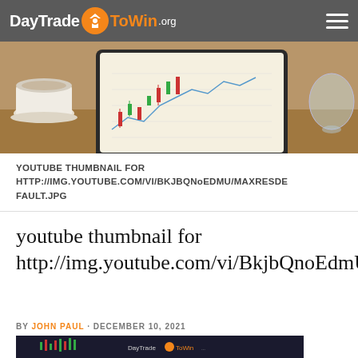DayTrade ToWin.org
[Figure (photo): Hero banner photo of a laptop showing a trading chart with candlesticks, a coffee cup on the left, and a glass bulb on the right.]
YOUTUBE THUMBNAIL FOR HTTP://IMG.YOUTUBE.COM/VI/BKJBQNoEDMU/MAXRESDEFAULT.JPG
youtube thumbnail for http://img.youtube.com/vi/BkjbQnoEdmU/maxresdefault.jpg
BY JOHN PAUL · DECEMBER 10, 2021
[Figure (screenshot): Screenshot of a DayTrade ToWin trading chart showing candlesticks on a dark background.]